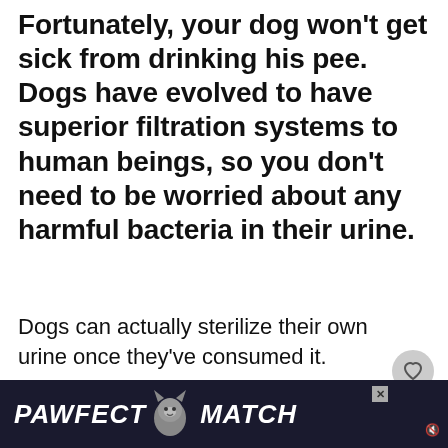Fortunately, your dog won't get sick from drinking his pee. Dogs have evolved to have superior filtration systems to human beings, so you don't need to be worried about any harmful bacteria in their urine.
Dogs can actually sterilize their own urine once they've consumed it.
However, this probably doesn't
[Figure (other): Advertisement banner for 'PAWFECT MATCH' featuring a cat image, with a close button and mute icon]